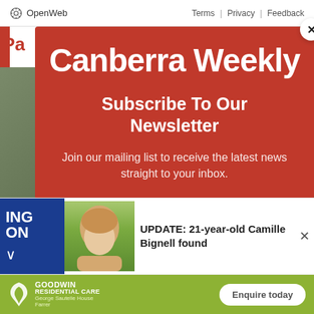OpenWeb   Terms | Privacy | Feedback
Canberra Weekly
Subscribe To Our Newsletter
Join our mailing list to receive the latest news straight to your inbox.
[Figure (photo): Young woman with blonde hair smiling, with flowers in background]
UPDATE: 21-year-old Camille Bignell found
[Figure (logo): Goodwin Residential Care - George Sautelle House Farrer advertisement with Enquire today button]